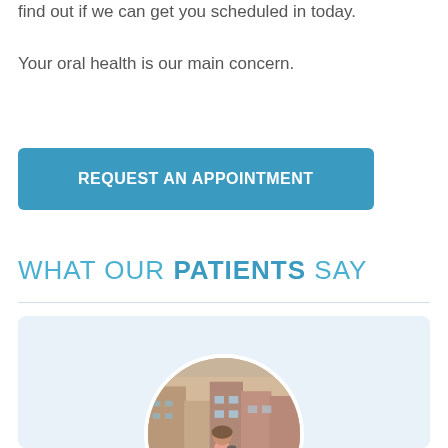find out if we can get you scheduled in today.
Your oral health is our main concern.
REQUEST AN APPOINTMENT
WHAT OUR PATIENTS SAY
[Figure (photo): Circular profile photo of a person walking in a street scene with buildings, with an orange star badge overlay at bottom right, on a light blue card background]